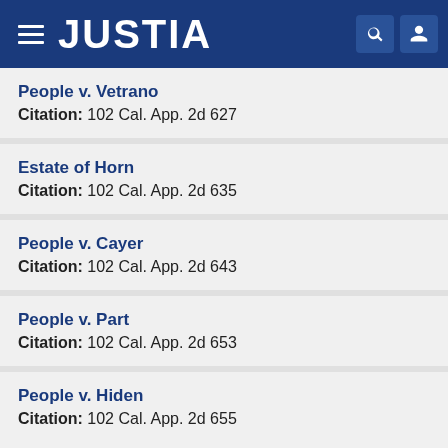JUSTIA
People v. Vetrano
Citation: 102 Cal. App. 2d 627
Estate of Horn
Citation: 102 Cal. App. 2d 635
People v. Cayer
Citation: 102 Cal. App. 2d 643
People v. Part
Citation: 102 Cal. App. 2d 653
People v. Hiden
Citation: 102 Cal. App. 2d 655